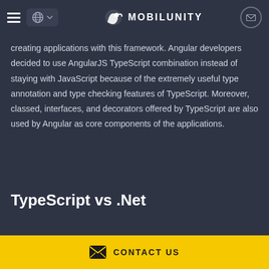MOBILUNITY
creating applications with this framework. Angular developers decided to use AngularJS TypeScript combination instead of staying with JavaScript because of the extremely useful type annotation and type checking features of TypeScript. Moreover, classed, interfaces, and decorators offered by TypeScript are also used by Angular as core components of the applications.
TypeScript vs .Net
CONTACT US